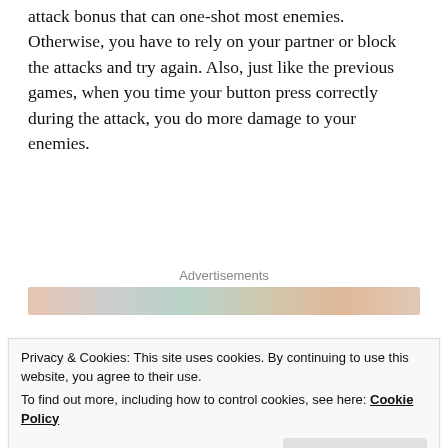attack bonus that can one-shot most enemies. Otherwise, you have to rely on your partner or block the attacks and try again. Also, just like the previous games, when you time your button press correctly during the attack, you do more damage to your enemies.
[Figure (other): Advertisements banner with colorful geometric/abstract ad images]
I could talk more in-depth about the battle system but I want to avoid that this review gets too long. So, I'm going to link you to an interesting article of a great blogging buddy of mine Adventure Rules, who talks a bit more
Privacy & Cookies: This site uses cookies. By continuing to use this website, you agree to their use.
To find out more, including how to control cookies, see here: Cookie Policy
Close and accept
Maybe... Maybe not. 😊 )